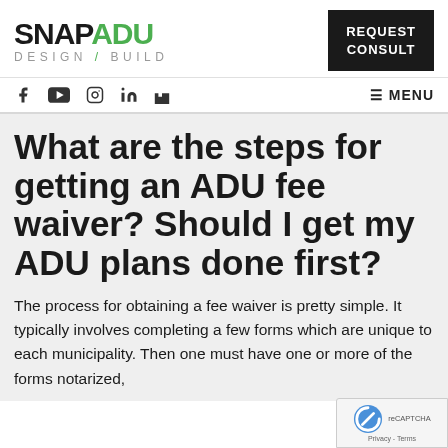[Figure (logo): SNAP ADU Design/Build logo with SNAP in black bold, ADU in green bold, and DESIGN/BUILD in gray spaced letters below]
[Figure (other): REQUEST CONSULT button in white text on black background]
[Figure (other): Social media icons: Facebook, YouTube, Instagram, LinkedIn, Houzz, and MENU hamburger button on right]
What are the steps for getting an ADU fee waiver? Should I get my ADU plans done first?
The process for obtaining a fee waiver is pretty simple. It typically involves completing a few forms which are unique to each municipality. Then one must have one or more of the forms notarized,